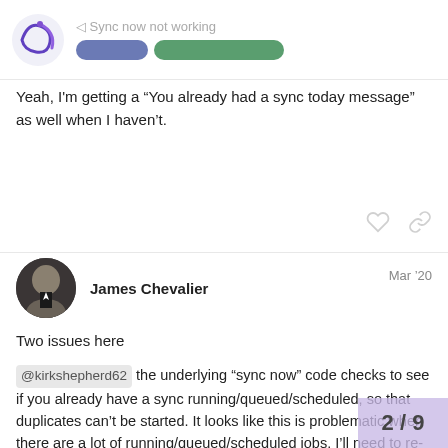Sync now not working
Yeah, I'm getting a “You already had a sync today message” as well when I haven’t.
James Chevalier  Mar ’20
Two issues here
@kirkshepherd62 the underlying “sync now” code checks to see if you already have a sync running/queued/scheduled, so that duplicates can’t be started. It looks like this is problematic when there are a lot of running/queued/scheduled jobs. I’ll need to re-think this.
@jason I silently updated the “sync now” code so it can only be run once per day, but I did so in a pretty tra already a daily sync that runs for all Runke